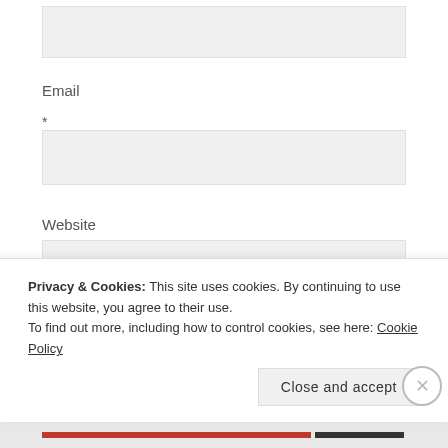[Figure (screenshot): Form input box (top, partial, gray background)]
Email
*
[Figure (screenshot): Email input field (gray background)]
Website
[Figure (screenshot): Website input field (gray background)]
[Figure (screenshot): POST COMMENT button (pink)]
Privacy & Cookies: This site uses cookies. By continuing to use this website, you agree to their use.
To find out more, including how to control cookies, see here: Cookie Policy
Close and accept